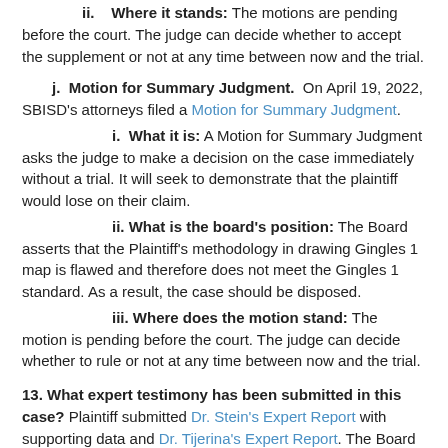ii. Where it stands: The motions are pending before the court. The judge can decide whether to accept the supplement or not at any time between now and the trial.
j. Motion for Summary Judgment. On April 19, 2022, SBISD's attorneys filed a Motion for Summary Judgment.
i. What it is: A Motion for Summary Judgment asks the judge to make a decision on the case immediately without a trial. It will seek to demonstrate that the plaintiff would lose on their claim.
ii. What is the board's position: The Board asserts that the Plaintiff's methodology in drawing Gingles 1 map is flawed and therefore does not meet the Gingles 1 standard. As a result, the case should be disposed.
iii. Where does the motion stand: The motion is pending before the court. The judge can decide whether to rule or not at any time between now and the trial.
13. What expert testimony has been submitted in this case? Plaintiff submitted Dr. Stein's Expert Report with supporting data and Dr. Tijerina's Expert Report. The Board submitted Dr. Alford's Expert Report.